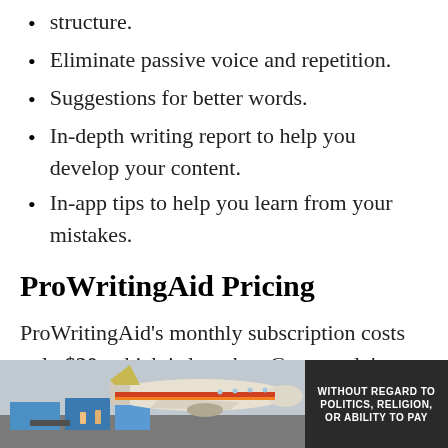structure.
Eliminate passive voice and repetition.
Suggestions for better words.
In-depth writing report to help you develop your content.
In-app tips to help you learn from your mistakes.
ProWritingAid Pricing
ProWritingAid’s monthly subscription costs only $20, which is less than Grammarly’s monthly subscription. A yearly subscription
[Figure (photo): Advertisement showing a cargo airplane being loaded, with text 'WITHOUT REGARD TO POLITICS, RELIGION, OR ABILITY TO PAY']